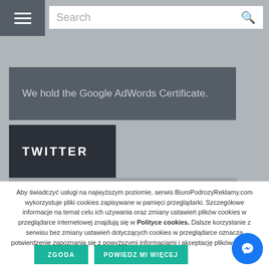[Figure (screenshot): Navigation bar with hamburger menu and search box]
[Figure (screenshot): Dark gray banner reading 'We hold the Google AdWords Certificate.']
[Figure (screenshot): Dark section header labeled 'TWITTER']
Aby świadczyć usługi na najwyższym poziomie, serwis BiuroPodrozyReklamy.com wykorzystuje pliki cookies zapisywane w pamięci przeglądarki. Szczegółowe informacje na temat celu ich używania oraz zmiany ustawień plików cookies w przeglądarce internetowej znajdują się w Polityce cookies. Dalsze korzystanie z serwisu bez zmiany ustawień dotyczących cookies w przeglądarce oznacza potwierdzenie zapoznania się z powyższymi informacjami i akceptację plików cookies.
ZGODA
POWIEDZ MI WIĘCEJ